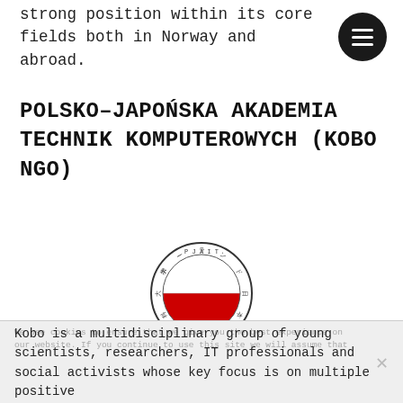strong position within its core fields both in Norway and abroad.
POLSKO–JAPOŃSKA AKADEMIA TECHNIK KOMPUTEROWYCH (KOBO NGO)
[Figure (logo): PJAIT logo — circular emblem with Japanese/Polish text around ring, red and white Polish flag design in center, text below: POLISH-JAPANESE ACADEMY OF INFORMATION TECHNOLOGY]
Kobo is a multidisciplinary group of young scientists, researchers, IT professionals and social activists whose key focus is on multiple positive